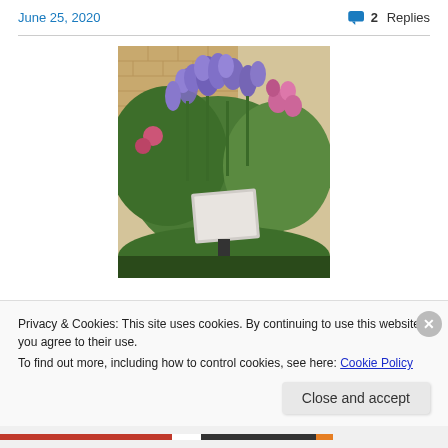June 25, 2020   💬 2 Replies
[Figure (photo): Garden photo showing tall purple/blue iris flowers and pink blooms growing in front of a brick wall, with a small informational placard/sign on a dark stand in the foreground surrounded by green foliage.]
Privacy & Cookies: This site uses cookies. By continuing to use this website, you agree to their use.
To find out more, including how to control cookies, see here: Cookie Policy
Close and accept